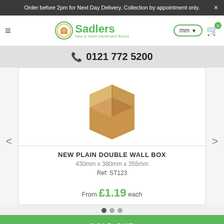Order before 2pm for Next Day Delivery. Collection by appointment only.
[Figure (logo): Sadlers New & Used Cardboard Boxes logo with green text and box icon]
0121 772 5200
[Figure (photo): A plain brown double wall cardboard box, open top, viewed from above at an angle]
NEW PLAIN DOUBLE WALL BOX
430mm x 380mm x 355mm
Ref: ST123
From £1.19 each
SOLD OUT